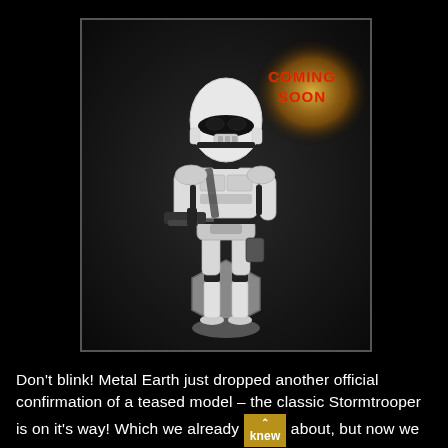[Figure (photo): A Metal Earth model of a Star Wars Stormtrooper standing on a hexagonal base, holding a blaster rifle. The figure is white and black, posed on a dark background. In the upper right corner there is a glowing orange 'COMING SOON' badge text.]
Don't blink! Metal Earth just dropped another official confirmation of a teased model – the classic Stormtrooper is on it's way! Which we already knew about, but now we have some official fancy product